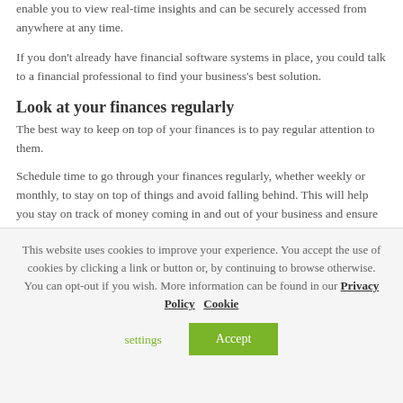enable you to view real-time insights and can be securely accessed from anywhere at any time.
If you don't already have financial software systems in place, you could talk to a financial professional to find your business's best solution.
Look at your finances regularly
The best way to keep on top of your finances is to pay regular attention to them.
Schedule time to go through your finances regularly, whether weekly or monthly, to stay on top of things and avoid falling behind. This will help you stay on track of money coming in and out of your business and ensure there are no problems. If there are issues, looking at your finances regularly may help
This website uses cookies to improve your experience. You accept the use of cookies by clicking a link or button or, by continuing to browse otherwise. You can opt-out if you wish. More information can be found in our Privacy Policy   Cookie settings
Accept